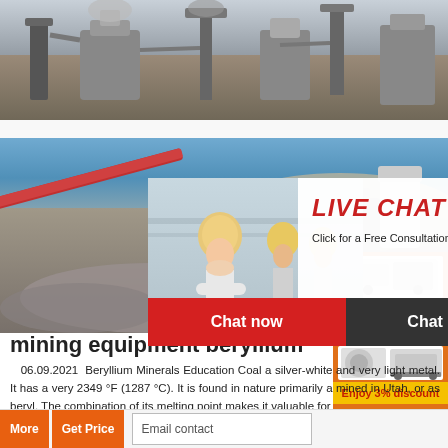[Figure (photo): Industrial mining/crushing equipment at an outdoor site with machinery, silos, and earthworks visible against a hilly background]
[Figure (photo): Second photo of mining/quarrying site equipment with conveyor belts and heavy machinery in an outdoor setting]
[Figure (photo): Live Chat popup overlay showing workers in yellow hard hats, with LIVE CHAT heading in red italic text, subtitle 'Click for a Free Consultation', Chat now button in red and Chat later button in dark gray]
mining equipment beryllium
06.09.2021  Beryllium Minerals Education Coal a silver-white and very light metal. It has a very 2349 °F (1287 °C). It is found in nature primarily a mined in Utah, or as beryl. The combination of its melting point makes it valuable for
[Figure (photo): Right sidebar with orange background showing images of mining/crushing machines, 'Enjoy 3% discount' in yellow box, 'Click to Chat' in yellow text, and 'Enquiry' in white text at bottom]
More  Get Price
Email contact